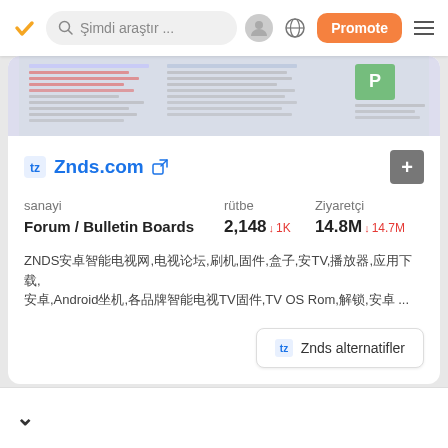[Figure (screenshot): Mobile app navigation bar with orange checkmark logo, search bar reading 'Şimdi araştır ...', user icon, globe icon, orange 'Promote' button, and hamburger menu]
[Figure (screenshot): Website preview thumbnail strip showing Znds.com page content]
Znds.com
| sanayi | rütbe | Ziyaretçi |
| --- | --- | --- |
| Forum / Bulletin Boards | 2,148 ↓1K | 14.8M ↓14.7M |
ZNDS安卓智能电视网,电视论坛,刷机,固件,盒子,安TV,播放器,应用下载,Android坐机,各品牌智能电视TV固件,TV OS Rom,解锁,安卓 ...
Znds alternatifler